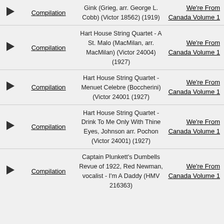Compilation | Gink (Grieg, arr. George L. Cobb) (Victor 18562) (1919) | We're From Canada Volume 1
Compilation | Hart House String Quartet - A St. Malo (MacMilan, arr. MacMilan) (Victor 24004) (1927) | We're From Canada Volume 1
Compilation | Hart House String Quartet - Menuet Celebre (Boccherini) (Victor 24001 (1927) | We're From Canada Volume 1
Compilation | Hart House String Quartet - Drink To Me Only With Thine Eyes, Johnson arr. Pochon (Victor 24001) (1927) | We're From Canada Volume 1
Compilation | Captain Plunkett's Dumbells Revue of 1922, Red Newman, vocalist - I'm A Daddy (HMV 216363) | We're From Canada Volume 1